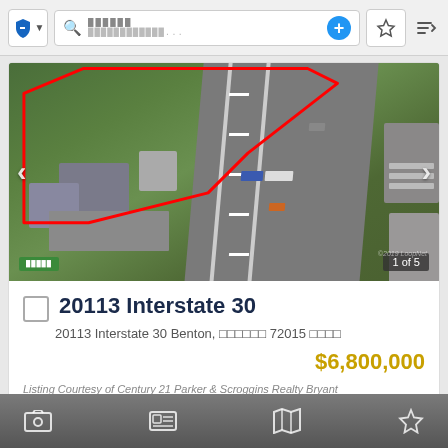Navigation bar with shield icon, search field showing redacted text, plus button, star/favorites button, sort button
[Figure (photo): Aerial drone photo of 20113 Interstate 30 property in Benton, Arkansas. Shows a highway (Interstate 30) running diagonally, with commercial buildings, green grass, and a red polygon boundary marking the property. Navigation arrows on left and right sides. Counter shows '1 of 5' in bottom right corner. Green label bottom left showing redacted text. Watermark visible at bottom right.]
20113 Interstate 30
20113 Interstate 30 Benton, [redacted] 72015 [redacted]
$6,800,000
Listing Courtesy of Century 21 Parker & Scroggins Realty Bryant
Bottom toolbar with photo icon, contact icon, map icon, and star/favorites icon